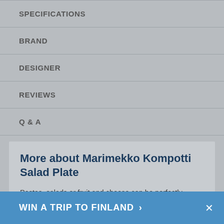SPECIFICATIONS
BRAND
DESIGNER
REVIEWS
Q & A
More about Marimekko Kompotti Salad Plate
Pastas, salads or fruit and cheese can be perfectly dished on Marimekko's Kompotti Salad Plate. Part of the Oiva collection of porcelain dinnerware, this simple plate features a milky white background with four colorful fruits arranged in the middle. Simply decorated yet illustrated with detail, designer Aino-Maija Metsola was inspired by the joys of gardening
WIN A TRIP TO FINLAND ›